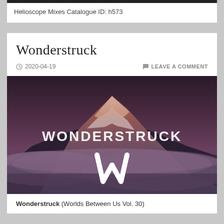Helioscope Mixes Catalogue ID: h573
Wonderstruck
2020-04-19  LEAVE A COMMENT
[Figure (photo): Mountain peak with snow and clouds at sunset/dusk, with the text WONDERSTRUCK and a W logo overlaid in white.]
Wonderstruck (Worlds Between Us Vol. 30)